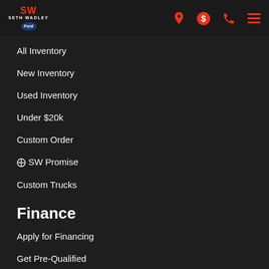SW SETH WADLEY Ford [navigation icons: location, dollar, phone, menu]
All Inventory
New Inventory
Used Inventory
Under $20k
Custom Order
⊕ SW Promise
Custom Trucks
Finance
Apply for Financing
Get Pre-Qualified
Trade Valuation